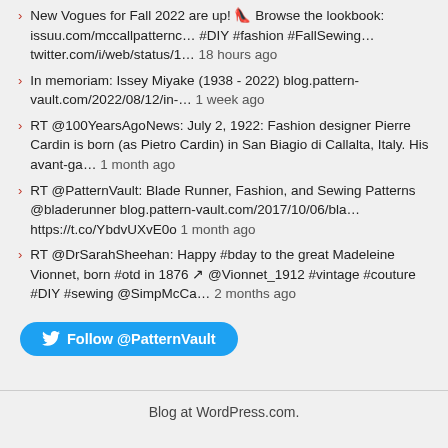New Vogues for Fall 2022 are up! 👠👠 Browse the lookbook: issuu.com/mccallpatternc… #DIY #fashion #FallSewing… twitter.com/i/web/status/1… 18 hours ago
In memoriam: Issey Miyake (1938 - 2022) blog.pattern-vault.com/2022/08/12/in-… 1 week ago
RT @100YearsAgoNews: July 2, 1922: Fashion designer Pierre Cardin is born (as Pietro Cardin) in San Biagio di Callalta, Italy. His avant-ga… 1 month ago
RT @PatternVault: Blade Runner, Fashion, and Sewing Patterns @bladerunner blog.pattern-vault.com/2017/10/06/bla… https://t.co/YbdvUXvE0o 1 month ago
RT @DrSarahSheehan: Happy #bday to the great Madeleine Vionnet, born #otd in 1876 ↗ @Vionnet_1912 #vintage #couture #DIY #sewing @SimpMcCa… 2 months ago
Follow @PatternVault
Blog at WordPress.com.